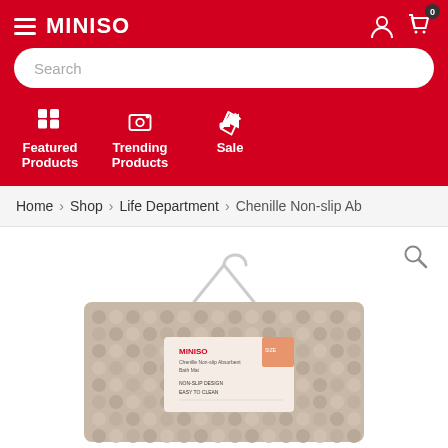[Figure (screenshot): MINISO e-commerce website header with red background, hamburger menu, MINISO logo, search bar, user and cart icons, navigation icons for Featured Products, Trending Products, and Sale]
Home › Shop › Life Department › Chenille Non-slip Ab
[Figure (photo): MINISO Chenille Non-slip bath mat product photo showing a textured beige/tan bath mat with a hanger and product label card]